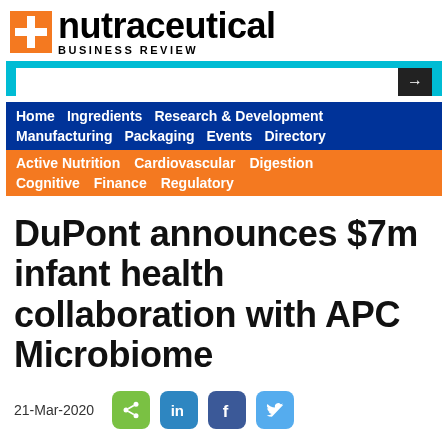[Figure (logo): NBR nutraceutical Business Review logo with orange plus/cross icon and text]
[Figure (screenshot): Navigation bar with search box, blue nav row (Home, Ingredients, Research & Development, Manufacturing, Packaging, Events, Directory), and orange nav row (Active Nutrition, Cardiovascular, Digestion, Cognitive, Finance, Regulatory)]
DuPont announces $7m infant health collaboration with APC Microbiome
21-Mar-2020